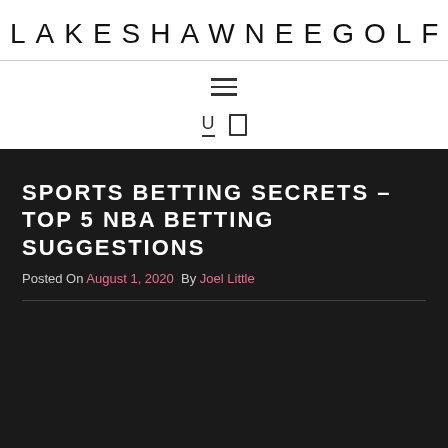LAKESHAWNEEGOLF
[Figure (other): Hamburger menu icon (three horizontal lines) and two small icons (U and rectangle) forming a navigation bar]
SPORTS BETTING SECRETS – TOP 5 NBA BETTING SUGGESTIONS
Posted On August 1, 2020  By Joel Little